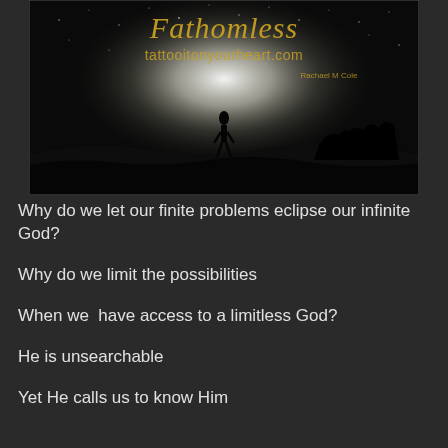[Figure (photo): Black and white photo of a silhouetted person standing under a glowing night sky, with text 'Fathomless' in gold script, 'tattooitonyourheart.com' and 'Rachael M Cole' overlaid.]
Why do we let our finite problems eclipse our infinite God?
Why do we limit the possibilities
When we  have access to a limitless God?
He is unsearchable
Yet He calls us to know Him